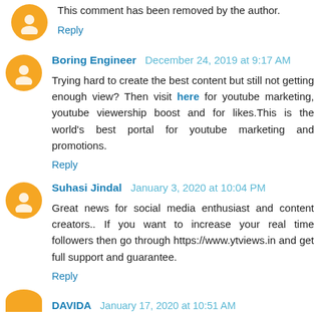This comment has been removed by the author.
Reply
Boring Engineer  December 24, 2019 at 9:17 AM
Trying hard to create the best content but still not getting enough view? Then visit here for youtube marketing, youtube viewership boost and for likes.This is the world's best portal for youtube marketing and promotions.
Reply
Suhasi Jindal  January 3, 2020 at 10:04 PM
Great news for social media enthusiast and content creators.. If you want to increase your real time followers then go through https://www.ytviews.in and get full support and guarantee.
Reply